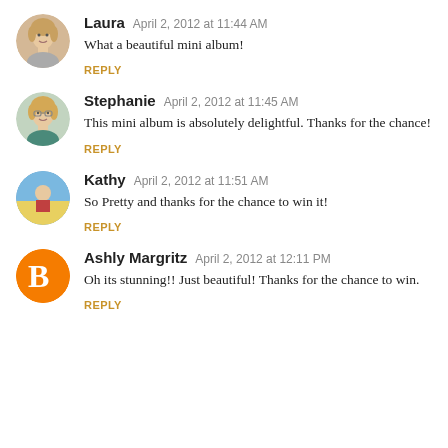[Figure (photo): Round avatar photo of Laura, a woman with blonde hair]
Laura  April 2, 2012 at 11:44 AM
What a beautiful mini album!
REPLY
[Figure (photo): Round avatar photo of Stephanie, a woman with glasses and blonde hair]
Stephanie  April 2, 2012 at 11:45 AM
This mini album is absolutely delightful. Thanks for the chance!
REPLY
[Figure (photo): Round avatar photo of Kathy, a person at the beach]
Kathy  April 2, 2012 at 11:51 AM
So Pretty and thanks for the chance to win it!
REPLY
[Figure (logo): Blogger orange circle icon with B logo]
Ashly Margritz  April 2, 2012 at 12:11 PM
Oh its stunning!! Just beautiful! Thanks for the chance to win.
REPLY